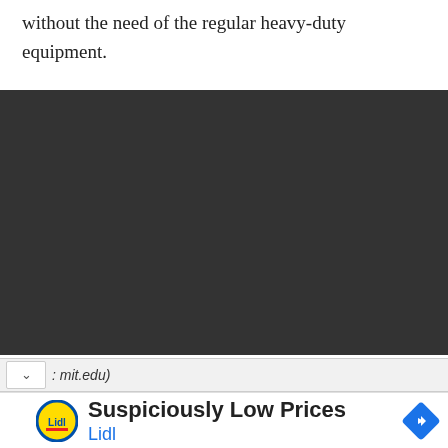without the need of the regular heavy-duty equipment.
[Figure (other): Dark/black rectangular video or media placeholder area]
: mit.edu)
[Figure (other): Lidl advertisement: Suspiciously Low Prices, Lidl brand logo and navigation icon]